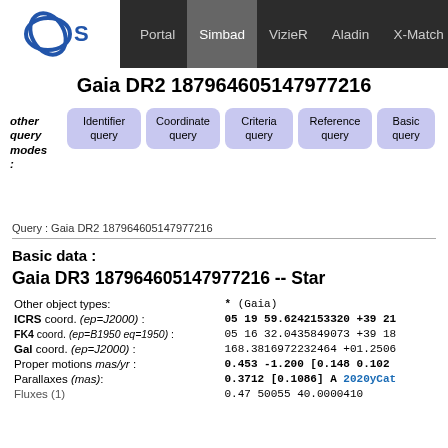Portal | Simbad | VizieR | Aladin | X-Match | Other
Gaia DR2 187964605147977216
other query modes: Identifier query | Coordinate query | Criteria query | Reference query | Basic query
Query : Gaia DR2 187964605147977216
Basic data :
Gaia DR3 187964605147977216 -- Star
| Field | Value |
| --- | --- |
| Other object types: | * (Gaia) |
| ICRS coord. (ep=J2000) : | 05 19 59.6242153320 +39 21 |
| FK4 coord. (ep=B1950 eq=1950) : | 05 16 32.0435849073 +39 18 |
| Gal coord. (ep=J2000) : | 168.3816972232464 +01.2506 |
| Proper motions mas/yr : | 0.453 -1.200 [0.148 0.102 |
| Parallaxes (mas): | 0.3712 [0.1086] A 2020yCat |
| Fluxes (1) | 0.47 50055 40.0000410 |